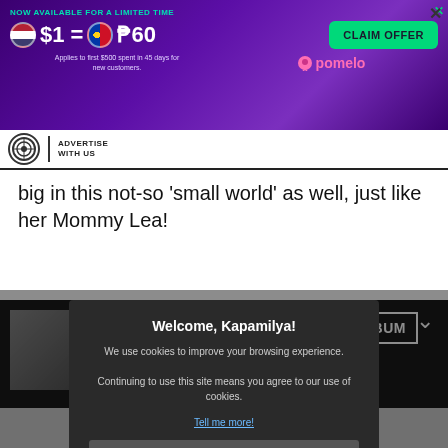[Figure (infographic): Advertisement banner: purple gradient background. NOW AVAILABLE FOR A LIMITED TIME. $1 = P60 exchange rate with US and Philippines flags. CLAIM OFFER green button. Applies to first $500 spent in 45 days for new customers. pomelo logo.]
[Figure (logo): ABS-CBN circular logo with ADVERTISE WITH US text]
big in this not-so ‘small world’ as well, just like her Mommy Lea!
[Figure (screenshot): Dark section showing album thumbnail photos and VIEW ALBUM button, 2 GOOD and NSYANO labels]
[Figure (screenshot): Cookie consent modal: Welcome, Kapamilya! We use cookies to improve your browsing experience. Continuing to use this site means you agree to our use of cookies. Tell me more! I AGREE! button]